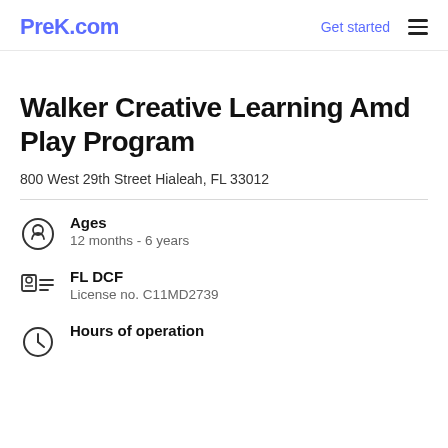PreK.com  Get started  ☰
Walker Creative Learning Amd Play Program
800 West 29th Street Hialeah, FL 33012
Ages
12 months - 6 years
FL DCF
License no. C11MD2739
Hours of operation